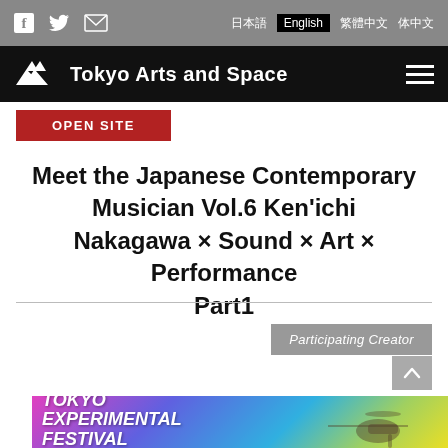Tokyo Arts and Space — navigation bar with social icons and language switcher (日本語, English, 繁體中文, 体中文)
OPEN SITE
Meet the Japanese Contemporary Musician Vol.6 Ken'ichi Nakagawa × Sound × Art × Performance Part1
Participating Creator
[Figure (photo): Tokyo Experimental Festival banner with colorful gradient background and helicopter image]